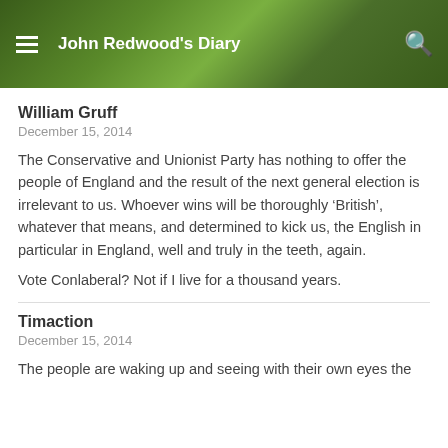[Figure (screenshot): Website header banner for John Redwood's Diary blog, showing a green leafy plant background with white text and navigation icons (hamburger menu and search icon).]
William Gruff
December 15, 2014
The Conservative and Unionist Party has nothing to offer the people of England and the result of the next general election is irrelevant to us. Whoever wins will be thoroughly ‘British’, whatever that means, and determined to kick us, the English in particular in England, well and truly in the teeth, again.
Vote Conlaberal? Not if I live for a thousand years.
Timaction
December 15, 2014
The people are waking up and seeing with their own eyes the